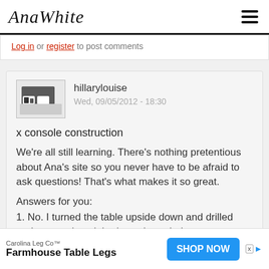AnaWhite
Log in or register to post comments
hillarylouise
Wed, 09/05/2012 - 18:30
x console construction
We're all still learning. There's nothing pretentious about Ana's site so you never have to be afraid to ask questions! That's what makes it so great.
Answers for you:
1. No. I turned the table upside down and drilled and screwed straight down through the aprons
Carolina Leg Co™
Farmhouse Table Legs
SHOP NOW